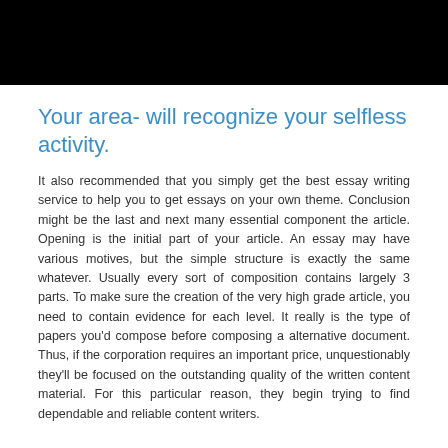[Figure (photo): Black banner image at top of page]
Your area- will recognize your selfless activity.
It also recommended that you simply get the best essay writing service to help you to get essays on your own theme. Conclusion might be the last and next many essential component the article. Opening is the initial part of your article. An essay may have various motives, but the simple structure is exactly the same whatever. Usually every sort of composition contains largely 3 parts. To make sure the creation of the very high grade article, you need to contain evidence for each level. It really is the type of papers you'd compose before composing a alternative document. Thus, if the corporation requires an important price, unquestionably they'll be focused on the outstanding quality of the written content material. For this particular reason, they begin trying to find dependable and reliable content writers.